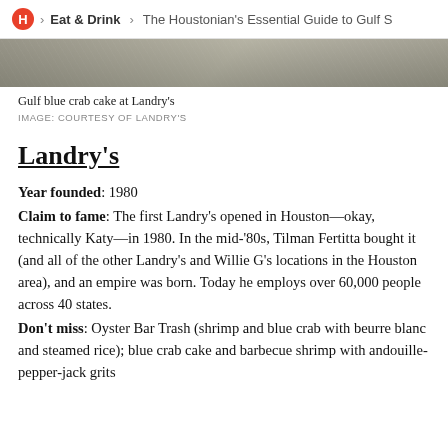H > Eat & Drink > The Houstonian's Essential Guide to Gulf S
[Figure (photo): Partial image of Gulf blue crab cake at Landry's, shown as a cropped gray-toned photo strip]
Gulf blue crab cake at Landry's
IMAGE: COURTESY OF LANDRY'S
Landry's
Year founded: 1980
Claim to fame: The first Landry's opened in Houston—okay, technically Katy—in 1980. In the mid-'80s, Tilman Fertitta bought it (and all of the other Landry's and Willie G's locations in the Houston area), and an empire was born. Today he employs over 60,000 people across 40 states.
Don't miss: Oyster Bar Trash (shrimp and blue crab with beurre blanc and steamed rice); blue crab cake and barbecue shrimp with andouille-pepper-jack grits